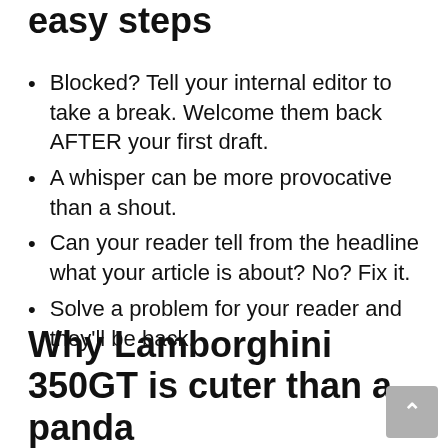easy steps
Blocked? Tell your internal editor to take a break. Welcome them back AFTER your first draft.
A whisper can be more provocative than a shout.
Can your reader tell from the headline what your article is about? No? Fix it.
Solve a problem for your reader and they'll be back.
Why Lamborghini 350GT is cuter than a panda